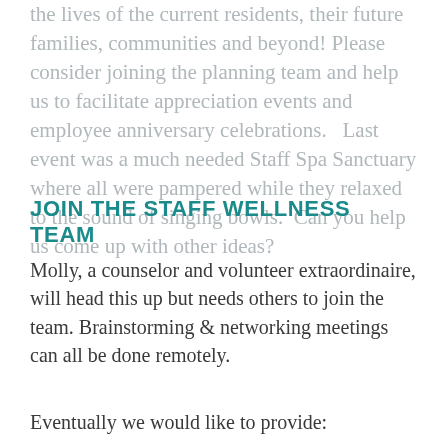the lives of the current residents, their future families, communities and beyond! Please consider joining the planning team and help us to facilitate appreciation events and employee anniversary celebrations.   Last event was a much needed Staff Spa Sanctuary where all were pampered while they relaxed to the sound of singing bowls.  Can you help us come up with other ideas?
JOIN THE STAFF WELLNESS TEAM
Molly, a counselor and volunteer extraordinaire, will head this up but needs others to join the team. Brainstorming & networking meetings can all be done remotely.
Eventually we would like to provide: